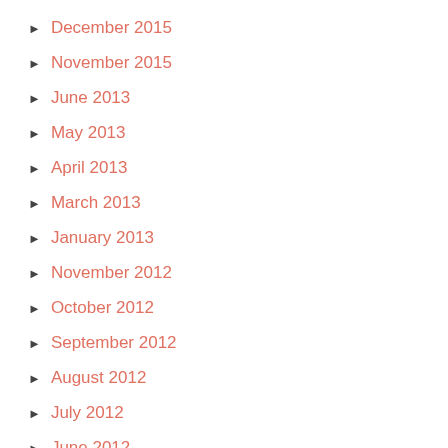December 2015
November 2015
June 2013
May 2013
April 2013
March 2013
January 2013
November 2012
October 2012
September 2012
August 2012
July 2012
June 2012